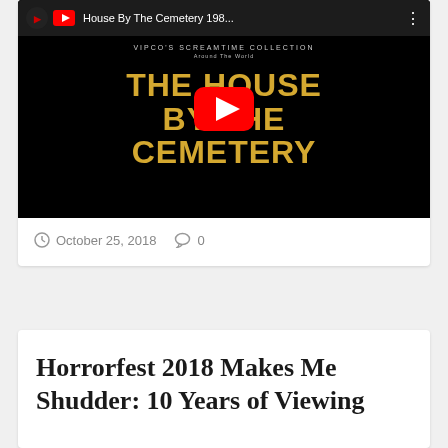[Figure (screenshot): YouTube video thumbnail for 'House By The Cemetery 198...' showing a black background with golden text 'THE HOUSE BY THE CEMETERY' and a red YouTube play button overlay. Video from VIPCO's Screamtime Collection.]
October 25, 2018   0
Horrorfest 2018 Makes Me Shudder: 10 Years of Viewing